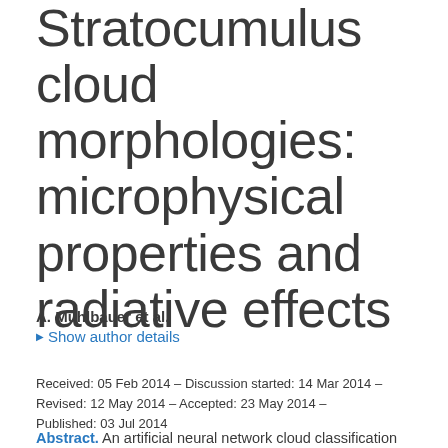Stratocumulus cloud morphologies: microphysical properties and radiative effects
A. Muhlbauer et al.
▶ Show author details
Received: 05 Feb 2014 – Discussion started: 14 Mar 2014 – Revised: 12 May 2014 – Accepted: 23 May 2014 – Published: 03 Jul 2014
Abstract. An artificial neural network cloud classification scheme is combined with A-train observations to